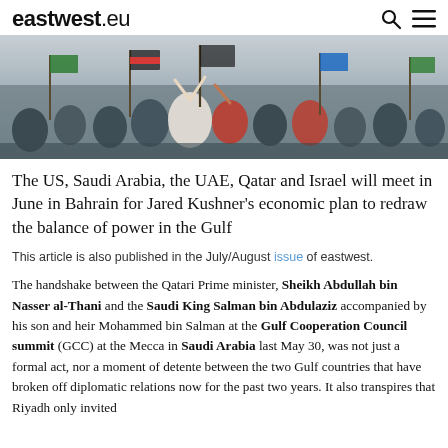eastwest.eu
[Figure (photo): Crowd of young men marching and holding flags and poles at a protest or demonstration outdoors.]
The US, Saudi Arabia, the UAE, Qatar and Israel will meet in June in Bahrain for Jared Kushner's economic plan to redraw the balance of power in the Gulf
This article is also published in the July/August issue of eastwest.
The handshake between the Qatari Prime minister, Sheikh Abdullah bin Nasser al-Thani and the Saudi King Salman bin Abdulaziz accompanied by his son and heir Mohammed bin Salman at the Gulf Cooperation Council summit (GCC) at the Mecca in Saudi Arabia last May 30, was not just a formal act, nor a moment of detente between the two Gulf countries that have broken off diplomatic relations now for the past two years. It also transpires that Riyadh only invited